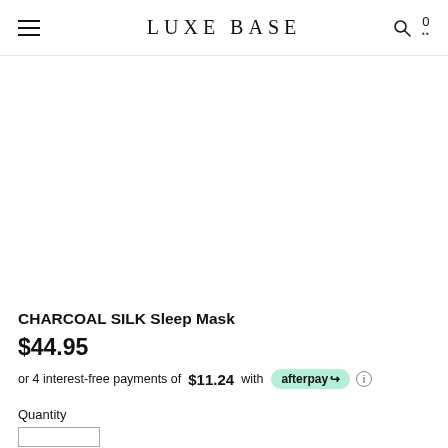LUXE BASE
CHARCOAL SILK Sleep Mask
$44.95
or 4 interest-free payments of $11.24 with afterpay
Quantity